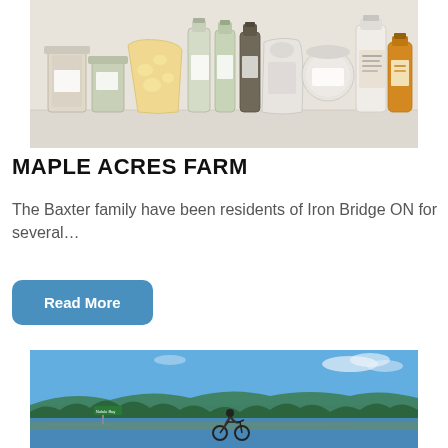[Figure (photo): Photo of various farm product jars, bottles, and packages arranged on a white surface — popcorn, spices, oils, honey, maple syrup, powders and other artisan goods from Maple Acres Farm]
MAPLE ACRES FARM
The Baxter family have been residents of Iron Bridge ON for several…
Read More
[Figure (photo): Photo of a motorcyclist parked by a lakeside road with a green road sign, blue sky and tree line in the background — scenic Ontario landscape]